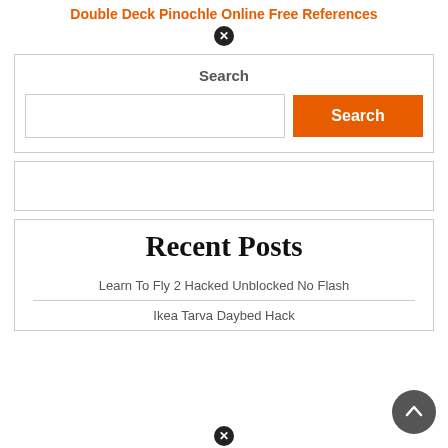Double Deck Pinochle Online Free References
Search
Search
Recent Posts
Learn To Fly 2 Hacked Unblocked No Flash
Ikea Tarva Daybed Hack